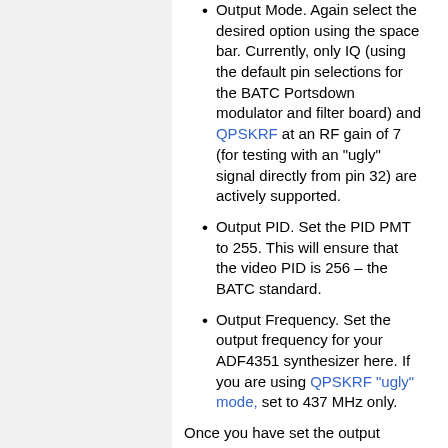Output Mode. Again select the desired option using the space bar. Currently, only IQ (using the default pin selections for the BATC Portsdown modulator and filter board) and QPSKRF at an RF gain of 7 (for testing with an "ugly" signal directly from pin 32) are actively supported.
Output PID. Set the PID PMT to 255. This will ensure that the video PID is 256 – the BATC standard.
Output Frequency. Set the output frequency for your ADF4351 synthesizer here. If you are using QPSKRF "ugly" mode, set to 437 MHz only.
Once you have set the output parameters, go back to the main menu